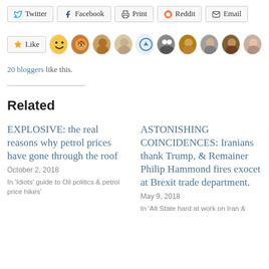[Figure (screenshot): Social share buttons: Twitter, Facebook, Print, Reddit, Email]
[Figure (screenshot): Like button with 10 blogger avatar thumbnails]
20 bloggers like this.
Related
EXPLOSIVE: the real reasons why petrol prices have gone through the roof
October 2, 2018
In 'Idiots' guide to Oil politics & petrol price hikes'
ASTONISHING COINCIDENCES: Iranians thank Trump, & Remainer Philip Hammond fires exocet at Brexit trade department.
May 9, 2018
In 'Alt State hard at work on Iran &